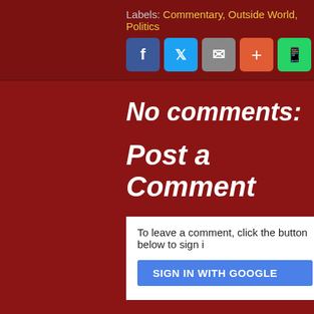Labels: Commentary, Outside World, Politics
[Figure (other): Social share buttons: Facebook (blue), Twitter (light blue), Email (gray), Plus (orange-red), WhatsApp (green)]
No comments:
Post a Comment
To leave a comment, click the button below to sign i
SIGN IN WITH GOOGLE
Newer Post
Hor
Subscribe to: Post Comments (Atom)